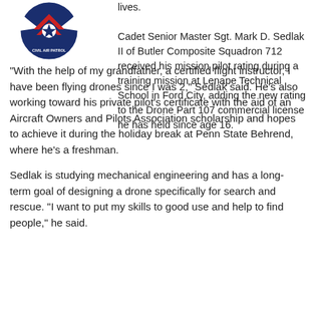[Figure (logo): Civil Air Patrol circular logo with blue background, red chevron/star design, and white eagle wings]
lives.

Cadet Senior Master Sgt. Mark D. Sedlak II of Butler Composite Squadron 712 received his mission pilot rating during a training mission at Lenape Technical School in Ford City, adding the new rating to the Drone Part 107 commercial license he has held since age 16.
“With the help of my grandfather, a certified flight instructor, I have been flying drones since I was 2,” Sedlak said. He’s also working toward his private pilot’s certificate with the aid of an Aircraft Owners and Pilots Association scholarship and hopes to achieve it during the holiday break at Penn State Behrend, where he’s a freshman.
Sedlak is studying mechanical engineering and has a long-term goal of designing a drone specifically for search and rescue. “I want to put my skills to good use and help to find people,” he said.